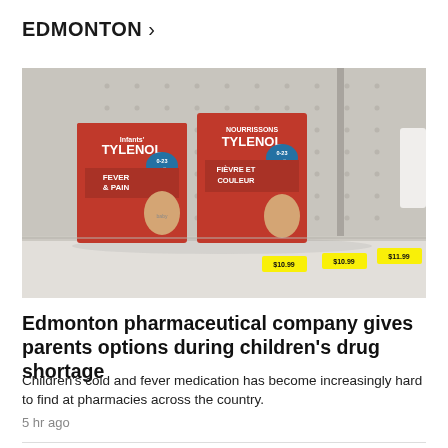EDMONTON >
[Figure (photo): Two boxes of Infants' Tylenol Fever & Pain medication (English and French packaging) sitting on an otherwise nearly empty pharmacy shelf, with yellow price tags visible along the shelf edge showing prices like $10.99 and $11.99.]
Edmonton pharmaceutical company gives parents options during children's drug shortage
Children's cold and fever medication has become increasingly hard to find at pharmacies across the country.
5 hr ago